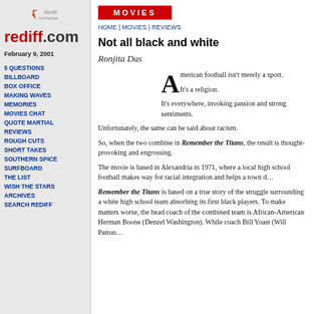[Figure (logo): Rediff OnTheNet logo with stylized icon]
rediff.com
February 9, 2001
5 QUESTIONS
BILLBOARD
BOX OFFICE
MAKING WAVES
MEMORIES
MOVIES CHAT
QUOTE MARTIAL
REVIEWS
ROUGH CUTS
SHORT TAKES
SOUTHERN SPICE
SURFBOARD
THE LIST
WISH THE STARS
ARCHIVES
SEARCH REDIFF
MOVIES
HOME | MOVIES | REVIEWS
Not all black and white
Ronjita Das
American football isn't merely a sport.

It's a religion.

It's everywhere, invoking passion and strong sentiments. Unfortunately, the same can be said about racism.

So, when the two combine in Remember the Titans, the result is thought-provoking and engrossing.

The movie is based in Alexandria in 1971, where a local high school football makes way for racial integration and helps a town d...

Remember the Titans is based on a true story of the struggle surrounding a white high school team absorbing its first black players. To make matters worse, the head coach of the combined team is African-American Herman Boone (Denzel Washington). While coach Bill Yoast (Will Patton...